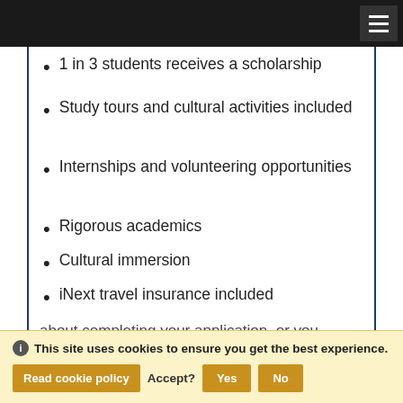Navigation bar with hamburger menu
1 in 3 students receives a scholarship
Study tours and cultural activities included
Internships and volunteering opportunities
Rigorous academics
Cultural immersion
iNext travel insurance included
Questions?
Our highly experienced staff have extensive
about completing your application, or you
This site uses cookies to ensure you get the best experience.